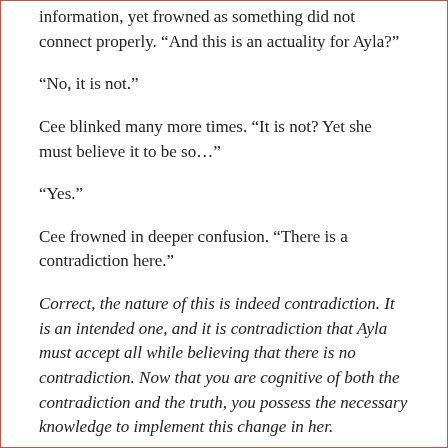information, yet frowned as something did not connect properly. “And this is an actuality for Ayla?”
“No, it is not.”
Cee blinked many more times. “It is not? Yet she must believe it to be so…”
“Yes.”
Cee frowned in deeper confusion. “There is a contradiction here.”
Correct, the nature of this is indeed contradiction. It is an intended one, and it is contradiction that Ayla must accept all while believing that there is no contradiction. Now that you are cognitive of both the contradiction and the truth, you possess the necessary knowledge to implement this change in her.